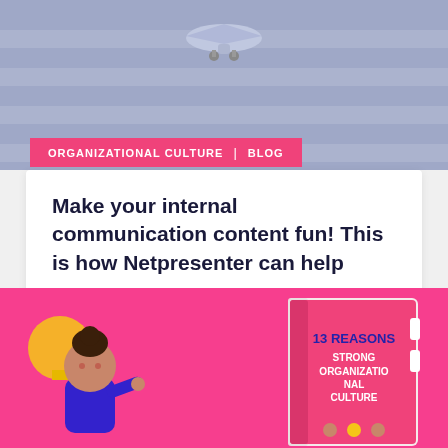[Figure (illustration): Top portion showing a light purple/grey background with horizontal stripes, airplane illustration at top, and a pink tag bar with 'ORGANIZATIONAL CULTURE | BLOG' text]
ORGANIZATIONAL CULTURE | BLOG
Make your internal communication content fun! This is how Netpresenter can help
Read more >
[Figure (illustration): Bottom pink banner showing a cartoon girl with a light bulb and a book titled '13 REASONS STRONG ORGANIZATIONAL CULTURE']